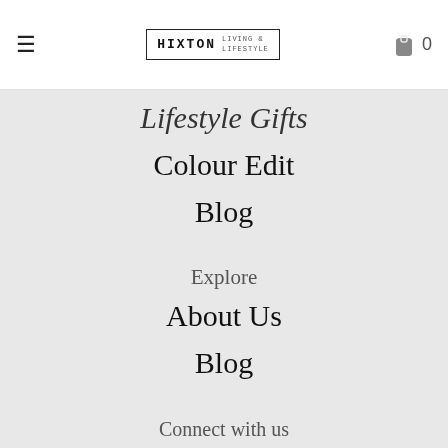≡  HIXTON [logo]  0
Lifestyle Gifts
Colour Edit
Blog
Explore
About Us
Blog
Connect with us
Sign up to our newsletter and we will keep you in the loop with regular